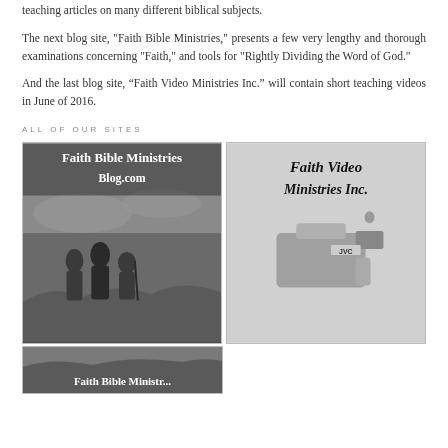teaching articles on many different biblical subjects.
The next blog site, "Faith Bible Ministries," presents a few very lengthy and thorough examinations concerning "Faith," and tools for "Rightly Dividing the Word of God."
And the last blog site, “Faith Video Ministries Inc.” will contain short teaching videos in June of 2016.
ALL OF OUR SITES
[Figure (photo): Faith Bible Ministries Blog.com banner image with three robed figures standing on a hillside in a black and white engraving style]
[Figure (photo): Faith Video Ministries Inc. banner image with a JVC video camera in black and white]
[Figure (photo): Faith Bible Ministries partial banner image at bottom, cut off]